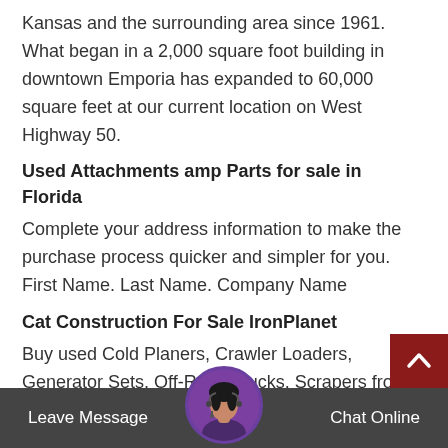Kansas and the surrounding area since 1961. What began in a 2,000 square foot building in downtown Emporia has expanded to 60,000 square feet at our current location on West Highway 50.
Used Attachments amp Parts for sale in Florida
Complete your address information to make the purchase process quicker and simpler for you. First Name. Last Name. Company Name
Cat Construction For Sale IronPlanet
Buy used Cold Planers, Crawler Loaders, Generator Sets, Off-Road Trucks, Scrapers from Cat, Ford, Mack, Grove, Link-Belt, American and more. Buy with confidence with our IronClad Assurance .
Scott Rocklabs Sample    ration Equipment Mining
Scott delivered one of its largest sample